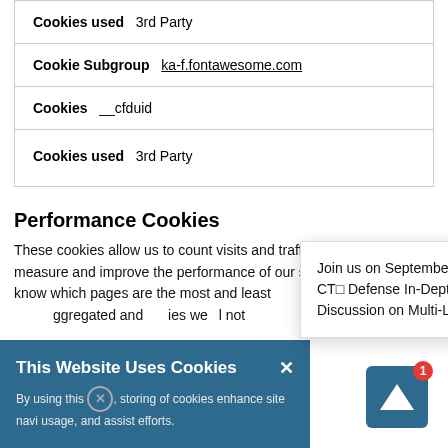| Cookies used | 3rd Party |
| Cookie Subgroup | ka-f.fontawesome.com |
| Cookies | __cfduid |
| Cookies used | 3rd Party |
Performance Cookies
These cookies allow us to count visits and traffic sources so we can measure and improve the performance of our site. They help us to know which pages are the most and least ... around the site. All ... aggregated and ... ies we ... l not ...
This Website Uses Cookies
By using this [x], ... storing of cookies ... enhance site navi... usage, and assist ... efforts.
Join us on September 1, 2022 at 1 pm CT□ Defense In-Depth: A Fresh, Frank Discussion on Multi-Laye...